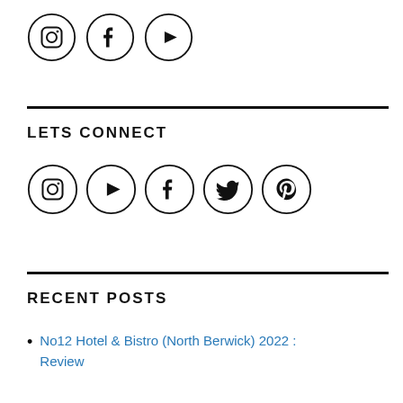[Figure (illustration): Three social media icon circles in a row: Instagram, Facebook, YouTube]
LETS CONNECT
[Figure (illustration): Five social media icon circles in a row: Instagram, YouTube, Facebook, Twitter, Pinterest]
RECENT POSTS
No12 Hotel & Bistro (North Berwick) 2022 : Review